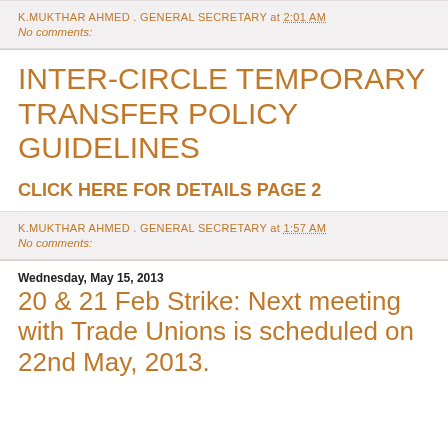K.MUKTHAR AHMED . GENERAL SECRETARY at 2:01 AM
No comments:
INTER-CIRCLE TEMPORARY TRANSFER POLICY GUIDELINES
CLICK HERE FOR DETAILS PAGE 2
K.MUKTHAR AHMED . GENERAL SECRETARY at 1:57 AM
No comments:
Wednesday, May 15, 2013
20 & 21 Feb Strike: Next meeting with Trade Unions is scheduled on 22nd May, 2013.